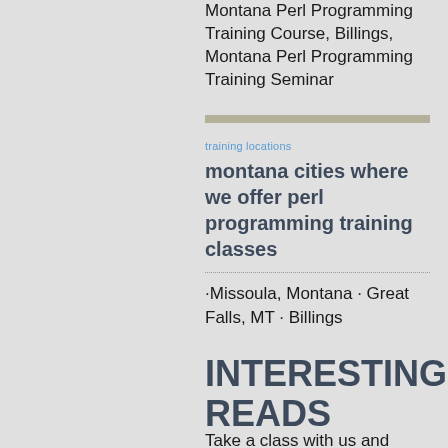Montana Perl Programming Training Course, Billings, Montana Perl Programming Training Seminar
training locations
montana cities where we offer perl programming training classes
·Missoula, Montana · Great Falls, MT · Billings
INTERESTING READS
Take a class with us and